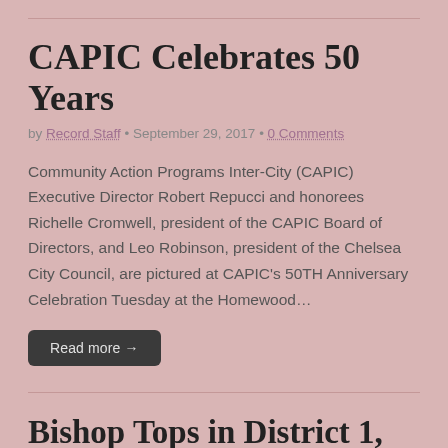CAPIC Celebrates 50 Years
by Record Staff • September 29, 2017 • 0 Comments
Community Action Programs Inter-City (CAPIC) Executive Director Robert Repucci and honorees Richelle Cromwell, president of the CAPIC Board of Directors, and Leo Robinson, president of the Chelsea City Council, are pictured at CAPIC's 50TH Anniversary Celebration Tuesday at the Homewood…
Read more →
Bishop Tops in District 1, Brown Cruises in District 8
by Record Staff • September 29, 2017 • 0 Comments